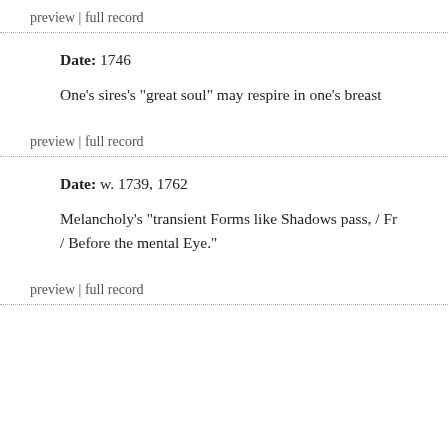preview | full record
Date: 1746
One's sires's "great soul" may respire in one's breast
preview | full record
Date: w. 1739, 1762
Melancholy's "transient Forms like Shadows pass, / Fr / Before the mental Eye."
preview | full record